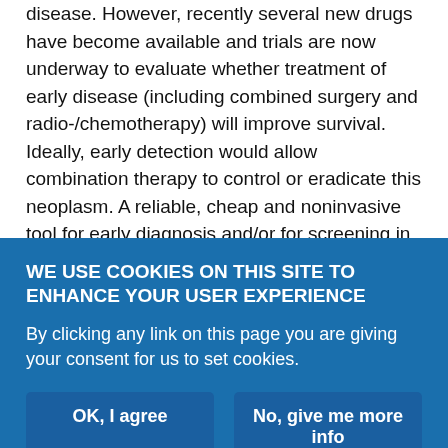disease. However, recently several new drugs have become available and trials are now underway to evaluate whether treatment of early disease (including combined surgery and radio-/chemotherapy) will improve survival. Ideally, early detection would allow combination therapy to control or eradicate this neoplasm. A reliable, cheap and noninvasive tool for early diagnosis and/or for screening in high-risk populations is urgently needed.
Because of this, there has been much recent interest in biomarkers for MM, including blood and tissue biomarkers, such as soluble mesothelin-related peptide, osteopontin and megakaryocyte potentiating factor. However, these are as yet imperfect [11-14]. One
WE USE COOKIES ON THIS SITE TO ENHANCE YOUR USER EXPERIENCE
By clicking any link on this page you are giving your consent for us to set cookies.